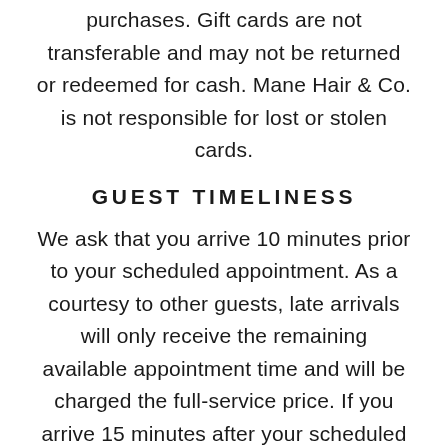purchases. Gift cards are not transferable and may not be returned or redeemed for cash. Mane Hair & Co. is not responsible for lost or stolen cards.
GUEST TIMELINESS
We ask that you arrive 10 minutes prior to your scheduled appointment. As a courtesy to other guests, late arrivals will only receive the remaining available appointment time and will be charged the full-service price. If you arrive 15 minutes after your scheduled appointment, we hold the right to refuse service.
PRODUCT RETURNS/EXCHANGES
Our product has a...